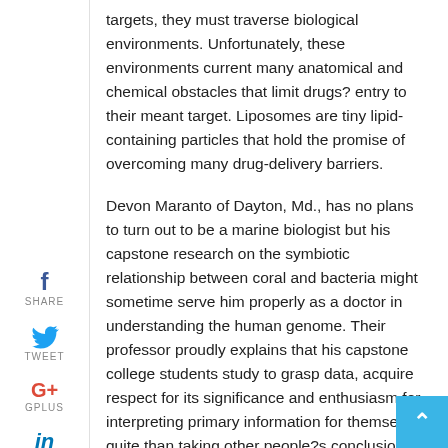targets, they must traverse biological environments. Unfortunately, these environments current many anatomical and chemical obstacles that limit drugs? entry to their meant target. Liposomes are tiny lipid-containing particles that hold the promise of overcoming many drug-delivery barriers.
Devon Maranto of Dayton, Md., has no plans to turn out to be a marine biologist but his capstone research on the symbiotic relationship between coral and bacteria might sometime serve him properly as a doctor in understanding the human genome. Their professor proudly explains that his capstone college students study to grasp data, acquire respect for its significance and enthusiasm for interpreting primary information for themselves quite than taking other people?s conclusions as fact. The more than 20 Biology majors graduating this yr explored topics ranging from smallpox vaccine to diabetes and pollution, from insect roles in forensics to cancer drug discovery, from HIV to